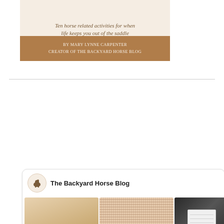[Figure (illustration): Top banner with cursive text on cream/beige background: 'Ten horse related activities for when life keeps you out of the saddle' followed by brown author banner: 'By Mary Lynne Carpenter, Creator of The Backyard Horse Blog']
[Figure (screenshot): Pinterest-style blog card for 'The Backyard Horse Blog' with circular horse avatar logo and grid of 5 photos showing horse-themed journals, pencils, stickers, a woman with a horse, notebook on dark background, horse stables, and a cattle yard.]